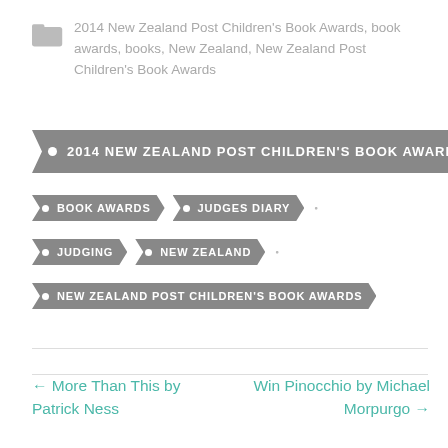2014 New Zealand Post Children's Book Awards, book awards, books, New Zealand, New Zealand Post Children's Book Awards
[Figure (infographic): Tag-shaped navigation buttons with labels: '2014 NEW ZEALAND POST CHILDREN'S BOOK AWARDS', 'BOOK AWARDS', 'JUDGES DIARY', 'JUDGING', 'NEW ZEALAND', 'NEW ZEALAND POST CHILDREN'S BOOK AWARDS']
← More Than This by Patrick Ness
Win Pinocchio by Michael Morpurgo →